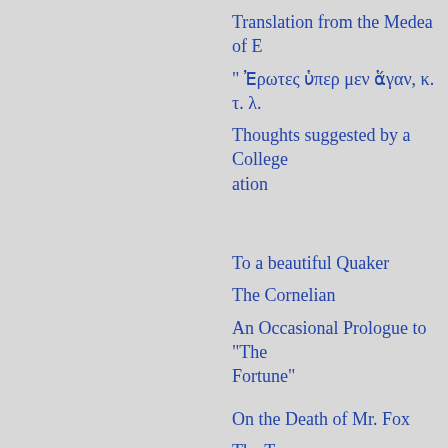Translation from the Medea of E
" Ἐρωτες ὑπερ μεν ἅγαν, κ. τ. λ.
Thoughts suggested by a College
ation
To a beautiful Quaker
The Cornelian
An Occasional Prologue to "The
Fortune"
On the Death of Mr. Fox
The Tear
Reply to some Verses of J. M. B.
Esq. on the Cruelty of his Mistre
To the sighing Strephon
To Eliza